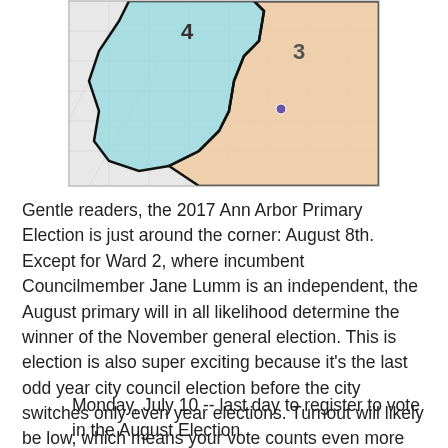[Figure (map): Map showing Ann Arbor city council ward districts 3 and 4. District 4 is shaded light blue/cyan on the left, District 3 is shaded light orange/peach on the right, with bold black boundary lines separating them. The map shows a street grid with a small purple dot marker in District 3.]
Gentle readers, the 2017 Ann Arbor Primary Election is just around the corner: August 8th. Except for Ward 2, where incumbent Councilmember Jane Lumm is an independent, the August primary will in all likelihood determine the winner of the November general election. This is election is also super exciting because it's the last odd year city council election before the city switches only even year elections. Turnout will likely be low, which means your vote counts even more (relatively). If you want great information on the election, you should check out Ann Arbor Votes, a local voter education non-profit.
Here's a quick rundown of the important dates and as well as the candidates. Important dates:
Monday, July 10 -- last day to register to vote in the August Election